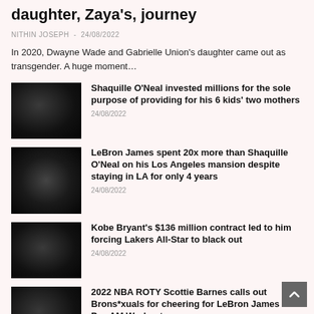daughter, Zaya's, journey
NITHIN JOSEPH - 24/08/2022
In 2020, Dwayne Wade and Gabrielle Union's daughter came out as transgender. A huge moment…
[Figure (photo): Dark thumbnail image for Shaquille O'Neal article]
Shaquille O'Neal invested millions for the sole purpose of providing for his 6 kids' two mothers
24/08/2022
[Figure (photo): Dark thumbnail image for LeBron James article]
LeBron James spent 20x more than Shaquille O'Neal on his Los Angeles mansion despite staying in LA for only 4 years
24/08/2022
[Figure (photo): Dark thumbnail image for Kobe Bryant article]
Kobe Bryant's $136 million contract led to him forcing Lakers All-Star to black out
24/08/2022
[Figure (photo): Dark thumbnail image for Scottie Barnes article]
2022 NBA ROTY Scottie Barnes calls out Brons*xuals for cheering for LeBron James at Pro-AM Workout
24/08/2022